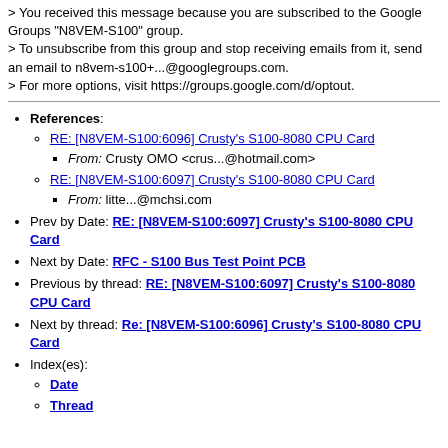> You received this message because you are subscribed to the Google Groups "N8VEM-S100" group.
> To unsubscribe from this group and stop receiving emails from it, send an email to n8vem-s100+...@googlegroups.com.
> For more options, visit https://groups.google.com/d/optout.
References: RE: [N8VEM-S100:6096] Crusty's S100-8080 CPU Card (link), From: Crusty OMO <crus...@hotmail.com>; RE: [N8VEM-S100:6097] Crusty's S100-8080 CPU Card (link), From: litte...@mchsi.com
Prev by Date: RE: [N8VEM-S100:6097] Crusty's S100-8080 CPU Card
Next by Date: RFC - S100 Bus Test Point PCB
Previous by thread: RE: [N8VEM-S100:6097] Crusty's S100-8080 CPU Card
Next by thread: Re: [N8VEM-S100:6096] Crusty's S100-8080 CPU Card
Index(es): Date, Thread